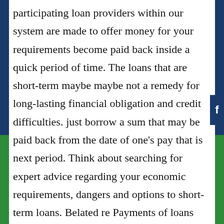participating loan providers within our system are made to offer money for your requirements become paid back inside a quick period of time. The loans that are short-term maybe maybe not a remedy for long-lasting financial obligation and credit difficulties. just borrow a sum that may be paid back from the date of one's pay that is next period. Think about searching for expert advice regarding your economic requirements, dangers and options to short-term loans. Belated re Payments of loans may end in extra costs or collection tasks, or both. Each loan provider has their terms that are own conditions, please review their policies for more info. Nonpayment of credit you could end up